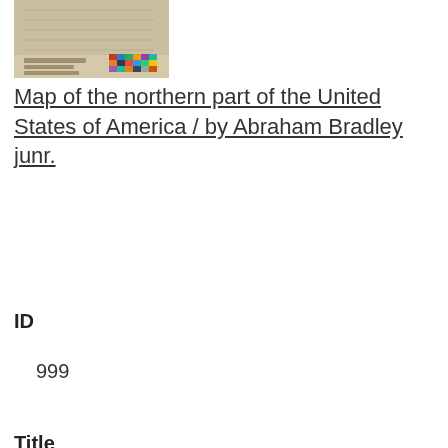[Figure (photo): Thumbnail image of a map with a color palette strip in bottom right corner]
Map of the northern part of the United States of America / by Abraham Bradley junr.
ID
999
Title
Map of the northern part of the United States of America / by Abraham Bradley junr.
Names and Subjects
< Previous
Next >
Go to page:  1  of 2  Go